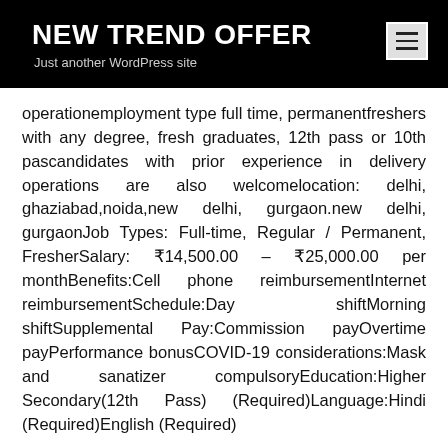NEW TREND OFFER
Just another WordPress site
operationemployment type full time, permanentfreshers with any degree, fresh graduates, 12th pass or 10th pascandidates with prior experience in delivery operations are also welcomelocation: delhi, ghaziabad,noida,new delhi, gurgaon.new delhi, gurgaonJob Types: Full-time, Regular / Permanent, FresherSalary: ₹14,500.00 – ₹25,000.00 per monthBenefits:Cell phone reimbursementInternet reimbursementSchedule:Day shiftMorning shiftSupplemental Pay:Commission payOvertime payPerformance bonusCOVID-19 considerations:Mask and sanatizer compulsoryEducation:Higher Secondary(12th Pass) (Required)Language:Hindi (Required)English (Required)